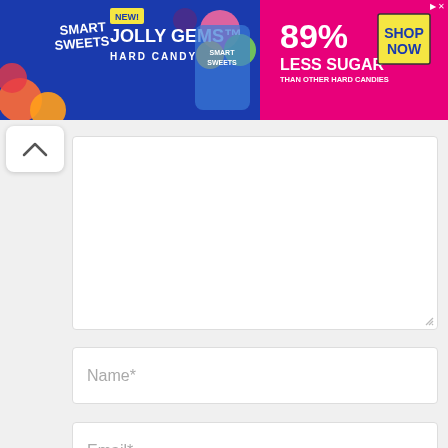[Figure (infographic): SmartSweets advertisement banner for Jolly Gems Hard Candy. Blue background on left with candy circles, text 'NEW! JOLLY GEMS HARD CANDY'. Pink/magenta on right with '89% LESS SUGAR THAN OTHER HARD CANDIES' and yellow 'SHOP NOW' box.]
[Figure (other): Scroll up chevron button (^) in white rounded box]
[Figure (other): Large empty textarea/comment input box with resize handle]
Name*
Email*